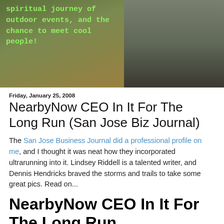[Figure (photo): Top portion of blog page showing a partial image of an outdoor scene with a person running on trails. Overlaid green monospace text reads: 'spiritual journey of outdoor events, and the chance to meet cool people!']
Friday, January 25, 2008
NearbyNow CEO In It For The Long Run (San Jose Biz Journal)
The San Jose Business Journal did a professional profile on me, and I thought it was neat how they incorporated ultrarunning into it. Lindsey Riddell is a talented writer, and Dennis Hendricks braved the storms and trails to take some great pics. Read on...
NearbyNow CEO In It For The Long Run
By Lindsey Riddell, 1/25/08 (edited by Scott for clarity)